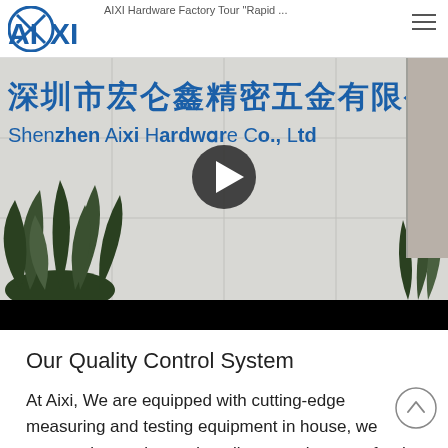AIXI Hardware Factory Tour "Rapid ...
[Figure (screenshot): Video thumbnail of Aixi/Shenzhen hardware factory lobby showing Chinese text '深圳市宏仑鑫精密五金有限公司' and English text 'Shenzhen Aixi Hardware Co., Ltd' on a white wall with plants, with a play button overlay]
Our Quality Control System
At Aixi, We are equipped with cutting-edge measuring and testing equipment in house, we execute inspection and quality control system for the whole process to make sure every project meet your requirement. Our quality